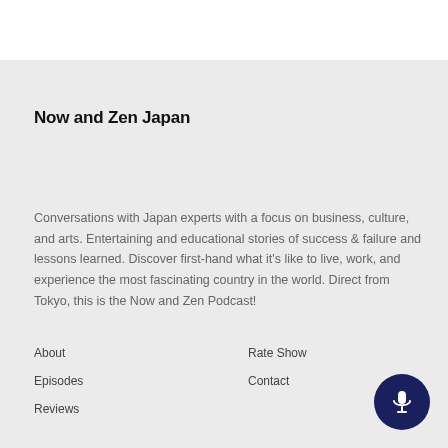Now and Zen Japan
Conversations with Japan experts with a focus on business, culture, and arts. Entertaining and educational stories of success & failure and lessons learned. Discover first-hand what it's like to live, work, and experience the most fascinating country in the world. Direct from Tokyo, this is the Now and Zen Podcast!
About
Episodes
Reviews
Rate Show
Contact
[Figure (illustration): Dark navy circular button with white microphone icon]